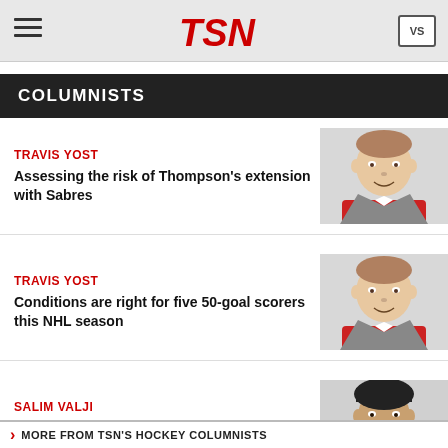TSN
COLUMNISTS
TRAVIS YOST
Assessing the risk of Thompson's extension with Sabres
[Figure (photo): Photo of Travis Yost, man smiling in red shirt and grey suit jacket]
TRAVIS YOST
Conditions are right for five 50-goal scorers this NHL season
[Figure (photo): Photo of Travis Yost, man smiling in red shirt and grey suit jacket]
SALIM VALJI
Kadri bringing Cup to London mosque will leave lasting legacy
[Figure (photo): Photo of Salim Valji, man in suit with pink tie]
MORE FROM TSN'S HOCKEY COLUMNISTS